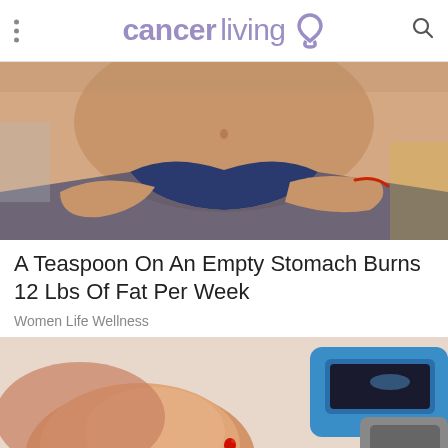cancerliving
[Figure (photo): Close-up of a slim person's abdomen and torso wearing dark blue bikini bottom, with one hand wearing a red string bracelet]
A Teaspoon On An Empty Stomach Burns 12 Lbs Of Fat Per Week
Women Life Wellness
[Figure (photo): Close-up of a finger with a small drop of blood from a blood glucose test, with a blue glucometer in the background]